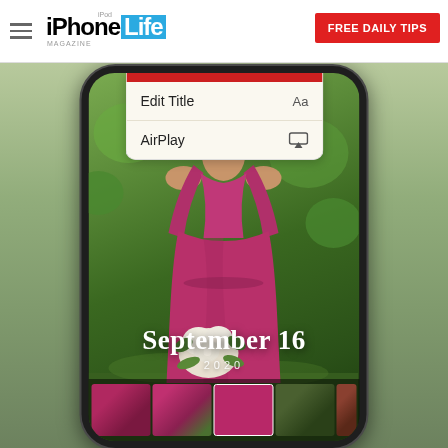iPhone Life Magazine | FREE DAILY TIPS
[Figure (screenshot): iPhone screen showing a photo slideshow app with a wedding/bridesmaid photo. A dropdown menu appears at the top with options 'Edit Title' (with Aa icon) and 'AirPlay' (with AirPlay icon). The background photo shows a woman in a magenta/fuchsia bridesmaid dress holding a bouquet of white flowers, with a green garden background. Text overlaid on the photo reads 'September 16' in large serif white text and '2020' in small spaced letters below. At the bottom of the screen is a horizontal strip of photo thumbnails.]